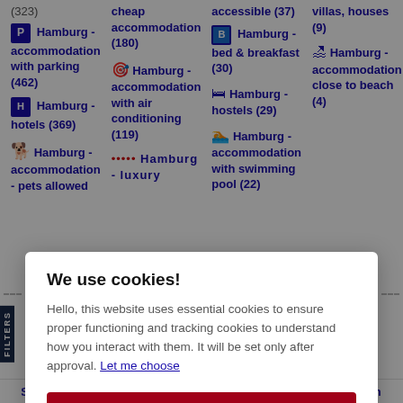Hamburg - accommodation with parking (462)
Hamburg - hotels (369)
Hamburg - accommodation - pets allowed
cheap accommodation (180)
Hamburg - accommodation with air conditioning (119)
Hamburg - luxury
accessible (37)
Hamburg - bed & breakfast (30)
Hamburg - hostels (29)
Hamburg - accommodation with swimming pool (22)
villas, houses (9)
Hamburg - accommodation close to beach (4)
We use cookies!
Hello, this website uses essential cookies to ensure proper functioning and tracking cookies to understand how you interact with them. It will be set only after approval. Let me choose
Accept everything
Reject everything
St. Pauli
Stellingen
Barmbek
Lurup (5)
Stern